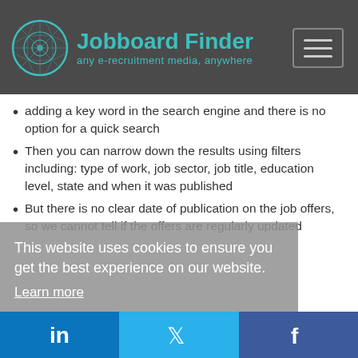Jobboard Finder — any e-recruitment media, anywhere
adding a key word in the search engine and there is no option for a quick search
Then you can narrow down the results using filters including: type of work, job sector, job title, education level, state and when it was published
But there is no clear date of publication on the job offers, so we cannot tell if the offers are regularly updated
This website uses cookies to ensure you get the best experience on our website. Learn more
Got it!
Login here for ... to unlock access to the
LinkedIn | Twitter | Facebook